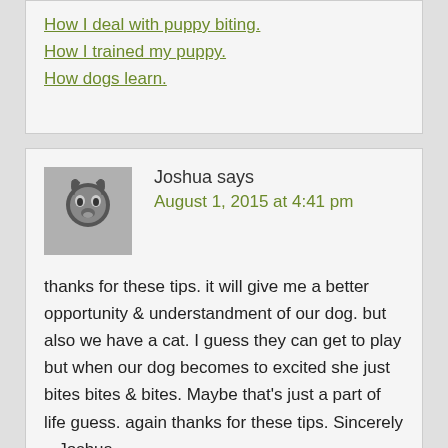How I deal with puppy biting.
How I trained my puppy.
How dogs learn.
Joshua says
August 1, 2015 at 4:41 pm
thanks for these tips. it will give me a better opportunity & understandment of our dog. but also we have a cat. I guess they can get to play but when our dog becomes to excited she just bites bites & bites. Maybe that’s just a part of life guess. again thanks for these tips. Sincerely – Joshua